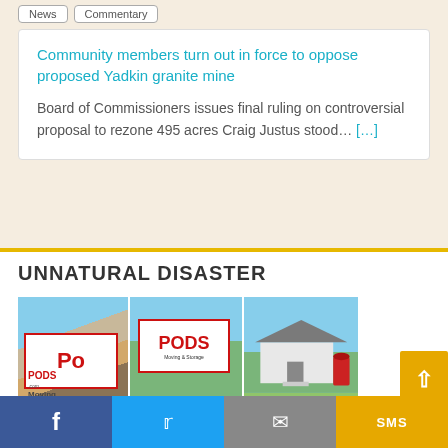News | Commentary
Community members turn out in force to oppose proposed Yadkin granite mine
Board of Commissioners issues final ruling on controversial proposal to rezone 495 acres Craig Justus stood... [...]
UNNATURAL DISASTER
[Figure (photo): Two PODS moving and storage containers on the left, and a house with a red portable toilet on the right]
Facebook | Twitter | Email | SMS share bar